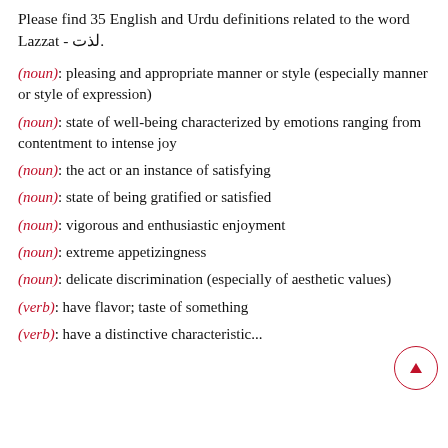Please find 35 English and Urdu definitions related to the word Lazzat - لذت.
(noun): pleasing and appropriate manner or style (especially manner or style of expression)
(noun): state of well-being characterized by emotions ranging from contentment to intense joy
(noun): the act or an instance of satisfying
(noun): state of being gratified or satisfied
(noun): vigorous and enthusiastic enjoyment
(noun): extreme appetizingness
(noun): delicate discrimination (especially of aesthetic values)
(verb): have flavor; taste of something
(verb): have a distinctive characteristic...